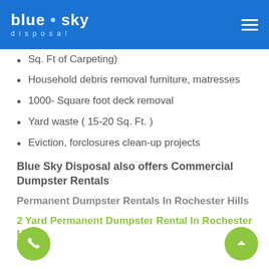blue sky disposal
Sq. Ft of Carpeting)
Household debris removal furniture, matresses
1000- Square foot deck removal
Yard waste ( 15-20 Sq. Ft. )
Eviction, forclosures clean-up projects
Blue Sky Disposal also offers Commercial Dumpster Rentals
Permanent Dumpster Rentals In Rochester Hills
2 Yard Permanent Dumpster Rental In Rochester H...